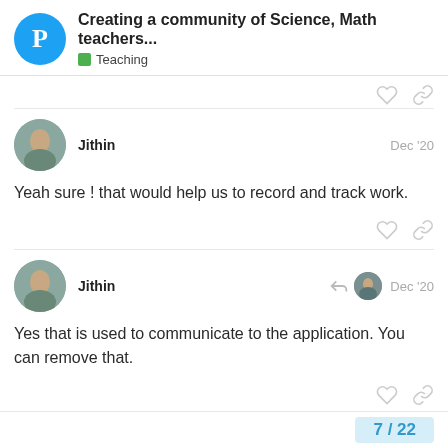Creating a community of Science, Math teachers... | Teaching
Yeah sure ! that would help us to record and track work.
Yes that is used to communicate to the application. You can remove that.
7 / 22